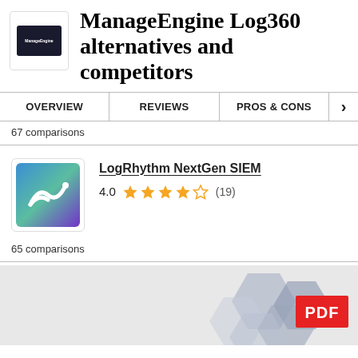ManageEngine Log360 alternatives and competitors
OVERVIEW   REVIEWS   PROS & CONS
67 comparisons
LogRhythm NextGen SIEM
4.0  (19)
65 comparisons
[Figure (screenshot): A PDF document thumbnail with blue/grey geometric hexagon shapes and a red PDF badge overlay]